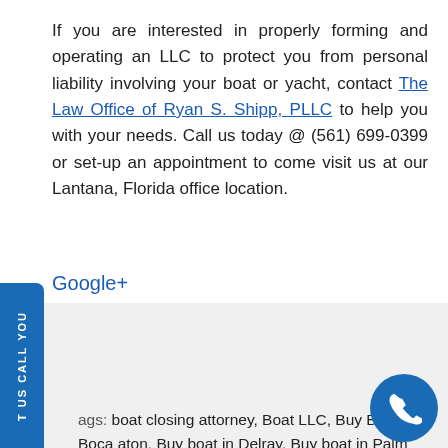If you are interested in properly forming and operating an LLC to protect you from personal liability involving your boat or yacht, contact The Law Office of Ryan S. Shipp, PLLC to help you with your needs. Call us today @ (561) 699-0399 or set-up an appointment to come visit us at our Lantana, Florida office location.
Google+
Share this:
[Figure (illustration): Twitter and Facebook social share icon buttons (circular, blue background with white icons)]
Tags: boat closing attorney, Boat LLC, Buy Boat in Boca Raton, Buy boat in Delray, Buy boat in Palm Beach, Buy Boat in South Florida, Buy Boat in West Palm, Buy boat in Palm Beach Fl, Lantana Attorneys, Lantana Law Office, LLC for Yacht, maritime attorney in Florida, Palm